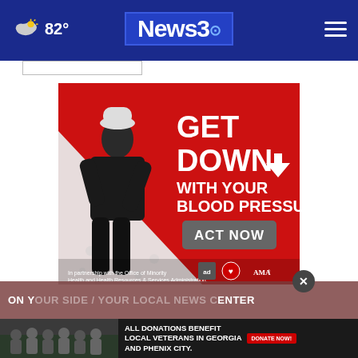82° News3
[Figure (illustration): Advertisement: GET DOWN WITH YOUR BLOOD PRESSURE - ACT NOW. In partnership with the Office of Minority Health and Health Resources & Services Administration. Features ad council, American Heart Association, and AMA logos.]
ON YOUR SIDE / YOUR LOCAL NEWS CENTER
[Figure (photo): Veterans group photo with text: ALL DONATIONS BENEFIT LOCAL VETERANS IN GEORGIA AND PHENIX CITY. DONATE NOW button.]